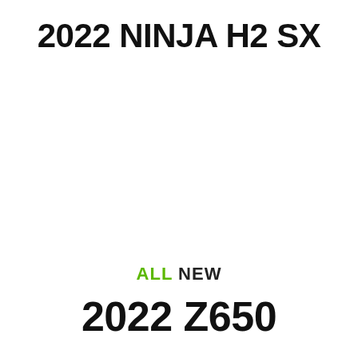2022 NINJA H2 SX
ALL NEW
2022 Z650